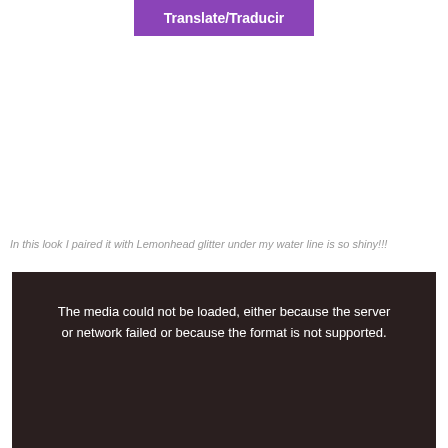[Figure (other): Purple button labeled Translate/Traducir]
In this look I paired it with Lemonhead glitter under my water line is so shiny!!!
[Figure (other): Dark media player with error message: The media could not be loaded, either because the server or network failed or because the format is not supported.]